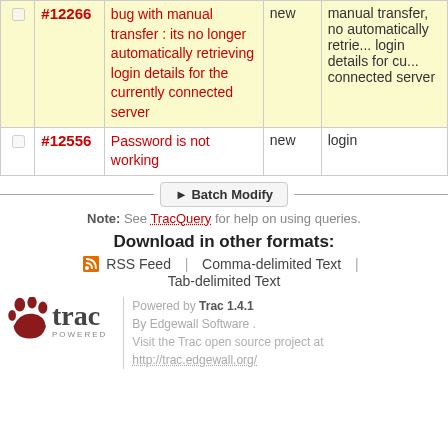|  | Ticket | Summary | Status | Component |
| --- | --- | --- | --- | --- |
| ☐ | #12266 | bug with manual transfer : its no longer automatically retrieving login details for the currently connected server | new | manual transfer, no automatically retrie... login details for cu... connected server |
| ☐ | #12556 | Password is not working | new | login |
▶ Batch Modify
Note: See TracQuery for help on using queries.
Download in other formats:
RSS Feed | Comma-delimited Text | Tab-delimited Text
Powered by Trac 1.4.1 By Edgewall Software. Visit the Trac open source project at http://trac.edgewall.org/